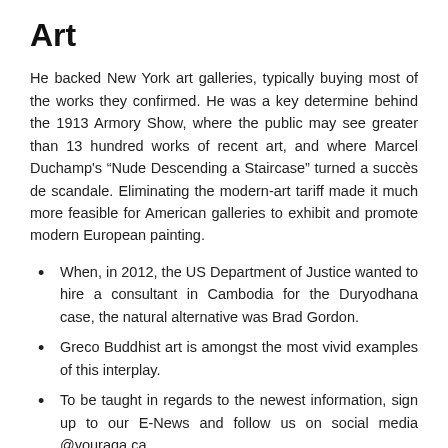Art
He backed New York art galleries, typically buying most of the works they confirmed. He was a key determine behind the 1913 Armory Show, where the public may see greater than 13 hundred works of recent art, and where Marcel Duchamp's “Nude Descending a Staircase” turned a succès de scandale. Eliminating the modern-art tariff made it much more feasible for American galleries to exhibit and promote modern European painting.
When, in 2012, the US Department of Justice wanted to hire a consultant in Cambodia for the Duryodhana case, the natural alternative was Brad Gordon.
Greco Buddhist art is amongst the most vivid examples of this interplay.
To be taught in regards to the newest information, sign up to our E-News and follow us on social media @youraqa.ca.